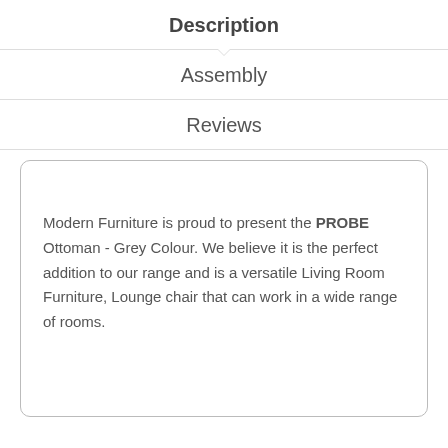Description
Assembly
Reviews
Modern Furniture is proud to present the PROBE Ottoman - Grey Colour. We believe it is the perfect addition to our range and is a versatile Living Room Furniture, Lounge chair that can work in a wide range of rooms.